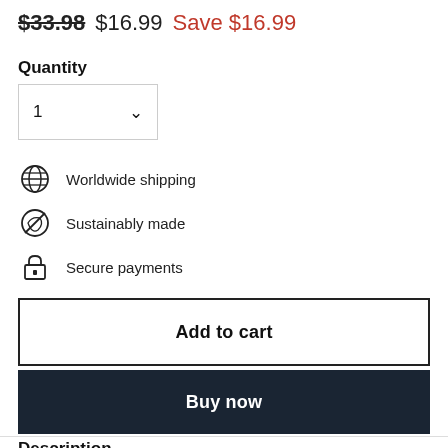$33.98  $16.99  Save $16.99
Quantity
[Figure (other): Quantity dropdown selector showing value 1 with dropdown arrow]
Worldwide shipping
Sustainably made
Secure payments
Add to cart
Buy now
Description